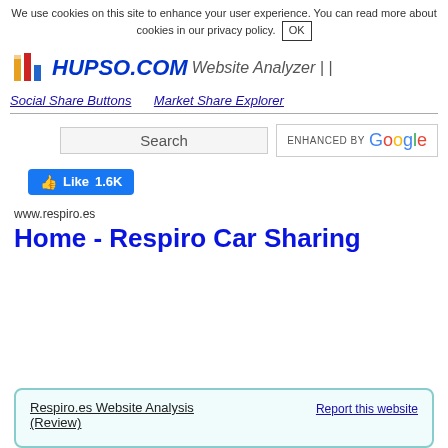We use cookies on this site to enhance your user experience. You can read more about cookies in our privacy policy. OK
[Figure (logo): Hupso.com logo with colorful bar chart icon and italic bold blue text HUPSO.COM followed by Website Analyzer]
Social Share Buttons   Market Share Explorer
[Figure (screenshot): Search input box and ENHANCED BY Google button]
[Figure (screenshot): Facebook Like button showing 1.6K likes]
www.respiro.es
Home - Respiro Car Sharing
Respiro.es Website Analysis (Review)   Report this website